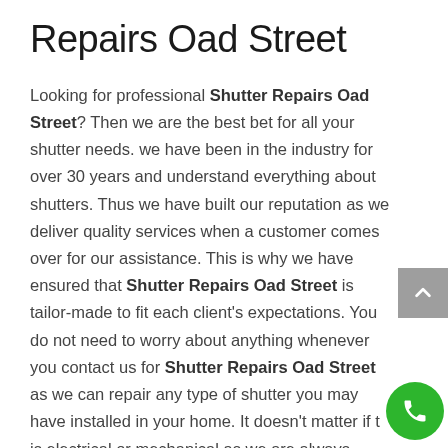Repairs Oad Street
Looking for professional Shutter Repairs Oad Street? Then we are the best bet for all your shutter needs. we have been in the industry for over 30 years and understand everything about shutters. Thus we have built our reputation as we deliver quality services when a customer comes over for our assistance. This is why we have ensured that Shutter Repairs Oad Street is tailor-made to fit each client's expectations. You do not need to worry about anything whenever you contact us for Shutter Repairs Oad Street as we can repair any type of shutter you may have installed in your home. It doesn't matter if t is electrical or mechanical as we are always available to help you out.
Our Shutter Repairs Oad Street company is always